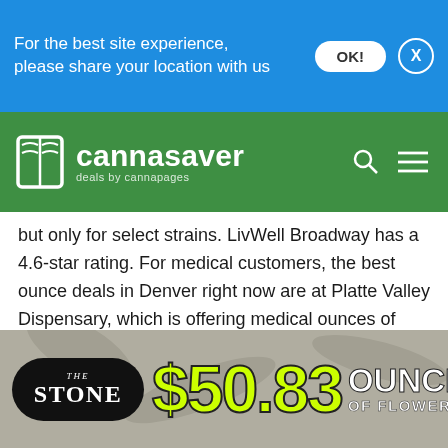For the best site experience, please share your location with us
[Figure (logo): Cannasaver logo with green background, book icon and 'deals by cannapages' tagline, search and menu icons]
but only for select strains. LivWell Broadway has a 4.6-star rating. For medical customers, the best ounce deals in Denver right now are at Platte Valley Dispensary, which is offering medical ounces of select strains for $100 tax included to first visit medical patients and members.
Best Marijuana Deals in Denver – Less than an ounce
There are a few other weed deals worth noting this
[Figure (advertisement): The Stone dispensary ad showing $50.83 ounce of flower deal]